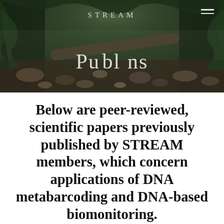[Figure (photo): Forest stream scene with rocks, fallen logs, and lush green ferns/foliage in a misty, dark forest environment. Overlaid with semi-transparent text 'STREAM' at top center and 'Publications' in the lower center area.]
Below are peer-reviewed, scientific papers previously published by STREAM members, which concern applications of DNA metabarcoding and DNA-based biomonitoring.